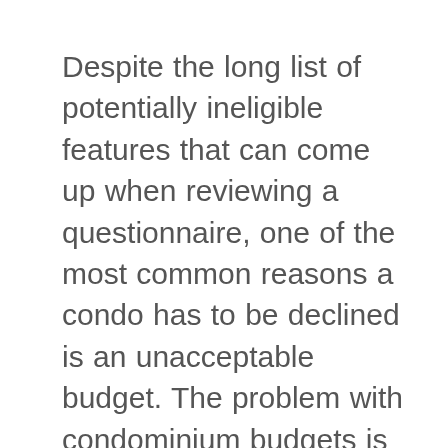Despite the long list of potentially ineligible features that can come up when reviewing a questionnaire, one of the most common reasons a condo has to be declined is an unacceptable budget.  The problem with condominium budgets is what you end up getting from the HOA is so wildly unpredictable.  You may receive a professional, clearly labeled budget from a property management company that shows all income and expenses, including the required reserve transfers.  Those are the best!  Or you may receive the retiree-HOA-president's best guess about what they might spend for the next year hand-written